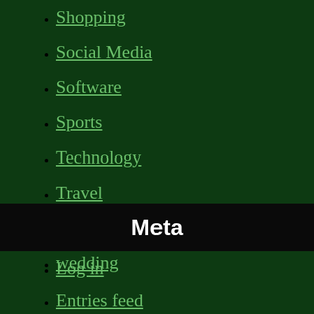Shopping
Social Media
Software
Sports
Technology
Travel
Web Design
wedding
Meta
Log in
Entries feed
Comments feed
WordPress.org